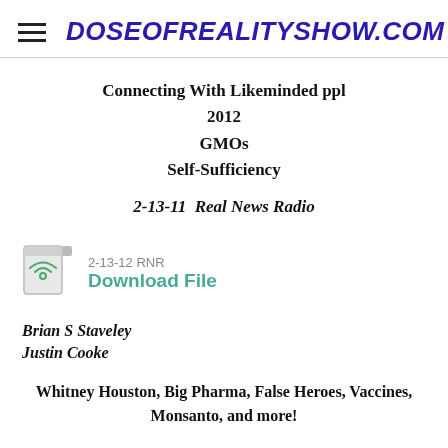DOSEOFREALITYSHOW.COM
Connecting With Likeminded ppl
2012
GMOs
Self-Sufficiency
2-13-11  Real News Radio
[Figure (other): File/audio icon for download link]
2-13-12 RNR
Download File
Brian S Staveley
Justin Cooke
Whitney Houston, Big Pharma, False Heroes, Vaccines, Monsanto, and more!